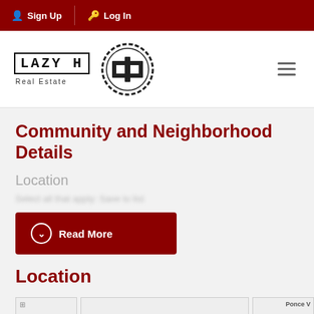Sign Up  Log In
[Figure (logo): Lazy H Real Estate logo with circular emblem and hamburger menu icon]
Community and Neighborhood Details
Location
Select all that apply: Save to list
Read More
Location
[Figure (map): Map thumbnail strip showing partial map views including 'Ponce V' label]